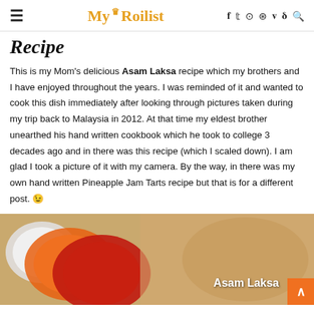My Roilist
Recipe
This is my Mom's delicious Asam Laksa recipe which my brothers and I have enjoyed throughout the years. I was reminded of it and wanted to cook this dish immediately after looking through pictures taken during my trip back to Malaysia in 2012. At that time my eldest brother unearthed his hand written cookbook which he took to college 3 decades ago and in there was this recipe (which I scaled down). I am glad I took a picture of it with my camera. By the way, in there was my own hand written Pineapple Jam Tarts recipe but that is for a different post. 😉
[Figure (photo): Photo of Asam Laksa dish with colorful bowls, labeled 'Asam Laksa']